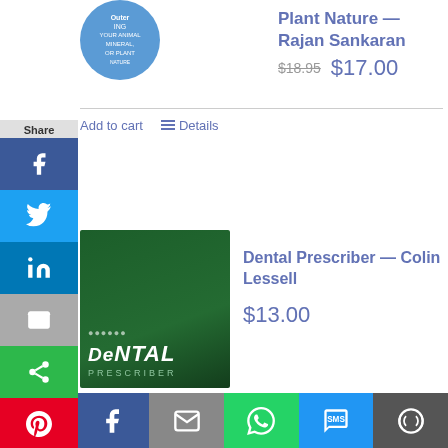[Figure (illustration): Book cover circle logo for Rajan Sankaran book - blue circle with text about animal, mineral, plant nature]
Plant Nature — Rajan Sankaran
$18.95  $17.00
Add to cart   Details
[Figure (illustration): Dark green book cover for Dental Prescriber by Colin Lessell with stylized De NTAL PRESCRIBER text]
Dental Prescriber — Colin Lessell
$13.00